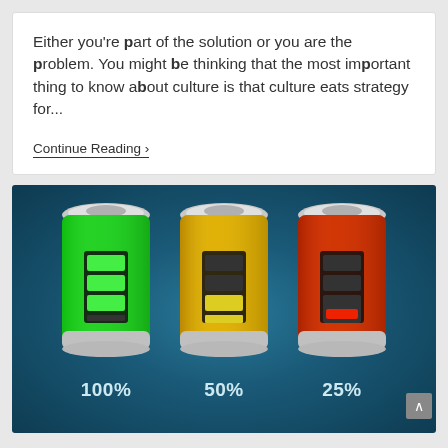Either you're part of the solution or you are the problem. You might be thinking that the most important thing to know about culture is that culture eats strategy for...
Continue Reading ›
[Figure (infographic): Three battery cylinders on a dark teal background showing charge levels: green battery at 100%, yellow/amber battery at 50%, red/orange battery at 25%. Each battery has a charge indicator display on its body.]